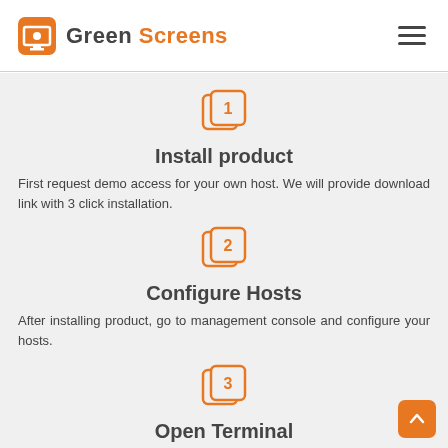Green Screens
[Figure (illustration): Orange stacked square icon with number 1]
Install product
First request demo access for your own host. We will provide download link with 3 click installation.
[Figure (illustration): Orange stacked square icon with number 2]
Configure Hosts
After installing product, go to management console and configure your hosts.
[Figure (illustration): Orange stacked square icon with number 3]
Open Terminal